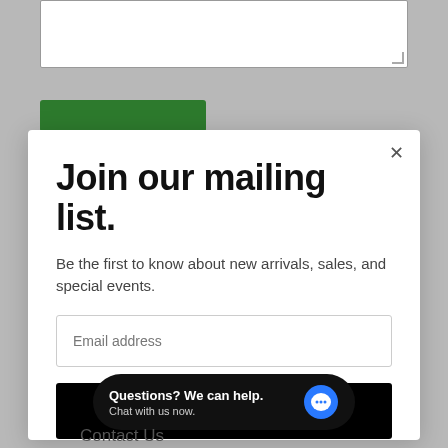[Figure (screenshot): Background page with textarea input and green button, partially obscured by modal]
Join our mailing list.
Be the first to know about new arrivals, sales, and special events.
Email address
Subscribe
Questions? We can help. Chat with us now.
Contact Us